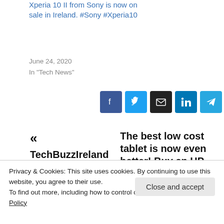Xperia 10 II from Sony is now on sale in Ireland. #Sony #Xperia10
June 24, 2020
In "Tech News"
[Figure (other): Social share buttons: Facebook, Twitter, Email, LinkedIn, Telegram, Pinterest]
« TechBuzzIreland talks to new Start-up Cloop
The best low cost tablet is now even better! Buy an HP Stream 7 and do
Privacy & Cookies: This site uses cookies. By continuing to use this website, you agree to their use.
To find out more, including how to control cookies, see here: Cookie Policy
Close and accept